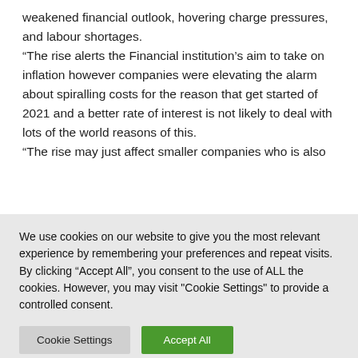weakened financial outlook, hovering charge pressures, and labour shortages.
“The rise alerts the Financial institution’s aim to take on inflation however companies were elevating the alarm about spiralling costs for the reason that get started of 2021 and a better rate of interest is not likely to deal with lots of the world reasons of this.
“The rise may just affect smaller companies who is also
We use cookies on our website to give you the most relevant experience by remembering your preferences and repeat visits. By clicking “Accept All”, you consent to the use of ALL the cookies. However, you may visit "Cookie Settings" to provide a controlled consent.